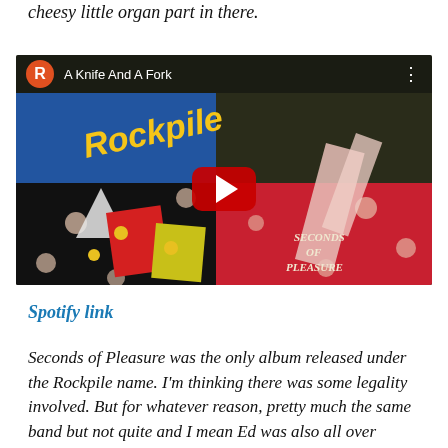cheesy little organ part in there.
[Figure (screenshot): YouTube video embed showing 'A Knife And A Fork' by Rockpile, with the album art for 'Seconds of Pleasure' visible in the background and a red play button in the center.]
Spotify link
Seconds of Pleasure was the only album released under the Rockpile name. I'm thinking there was some legality involved. But for whatever reason, pretty much the same band but not quite and I mean Ed was also all over (Torn)...